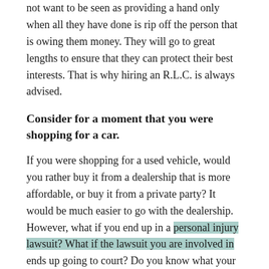not want to be seen as providing a hand only when all they have done is rip off the person that is owing them money. They will go to great lengths to ensure that they can protect their best interests. That is why hiring an R.L.C. is always advised.
Consider for a moment that you were shopping for a car.
If you were shopping for a used vehicle, would you rather buy it from a dealership that is more affordable, or buy it from a private party? It would be much easier to go with the dealership. However, what if you end up in a personal injury lawsuit? What if the lawsuit you are involved in ends up going to court? Do you know what your next steps are?